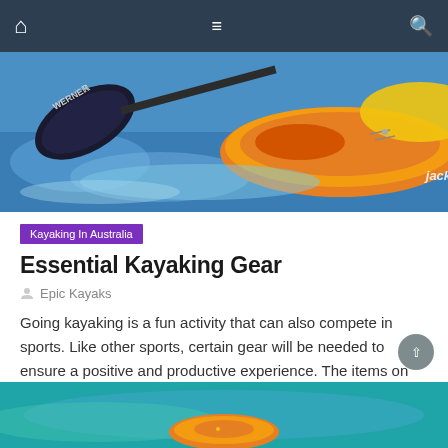Navigation bar with home, menu, and search icons
[Figure (photo): Close-up photo of a Werner kayak paddle and an orange Jackson kayak on water]
Kayaking In Australia
Essential Kayaking Gear
Epic Kayaks
Going kayaking is a fun activity that can also compete in sports. Like other sports, certain gear will be needed to ensure a positive and productive experience. The items on this list are all the essential items needed to protect your belongings and yourself while also making things just a bit easier. Waterproof Casings Going [...]
[Figure (photo): Aerial view of an orange kayak on teal/turquoise water]